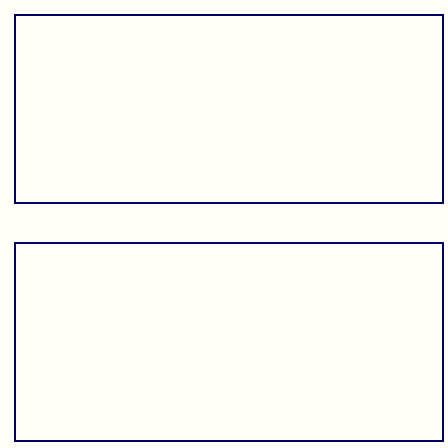[Figure (other): Empty bordered rectangle at top of page]
Millwall On The Web: Links
Millwall Football